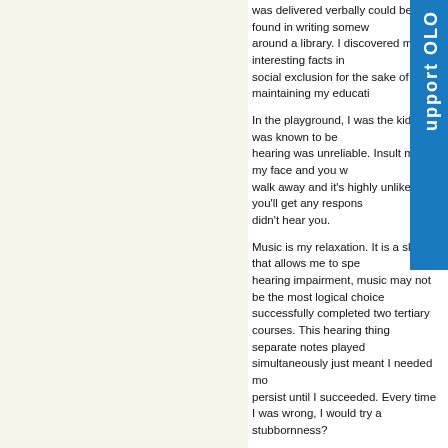was delivered verbally could be found in writing somewhere around a library. I discovered many interesting facts in social exclusion for the sake of maintaining my education.
In the playground, I was the kid who was known to be unreliable. Insult me to my face and you would walk away and it's highly unlikely you'll get any response. I didn't hear you.
Music is my relaxation. It is a skill that allows me to spend time hearing impairment, music may not be the most logical choice successfully completed two tertiary courses. This hearing thing, separate notes played simultaneously just meant I needed more persist until I succeeded. Every time I was wrong, I would try again stubbornness?
From study to employment…..surely we live in a socially inclusive provides equal workplace opportunities for all. So how is that, individual like myself can manage to have their career curtailed hearing impairment and continue to come up against those same appear to be, either make my hearing impairment a major issue reasonable adjustments.
Advertisement
So do I become a part of the silent majority – that large number do I stand on the mountain top and become a target for the discrimination ignore my hearing impairment. Experience as we all know is the not all of me but it has certainly shaped how I see the world and with a hearing impairment is a life lesson. It's not a lesson we society.
Fortunately there are some wonderful people in the world who people, who realizing I missed the critical information would...